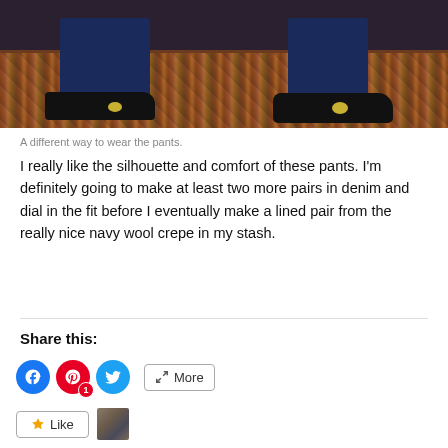[Figure (photo): Photo of a person's legs/feet wearing navy blue pants and black shoes with gold buckles, standing on a patterned rug]
A different way to wear the pants.
I really like the silhouette and comfort of these pants. I'm definitely going to make at least two more pairs in denim and dial in the fit before I eventually make a lined pair from the really nice navy wool crepe in my stash.
Share this:
[Figure (other): Share buttons: Facebook, Pinterest (with badge 1), Twitter, and More button]
[Figure (other): Like button and small thumbnail avatar]